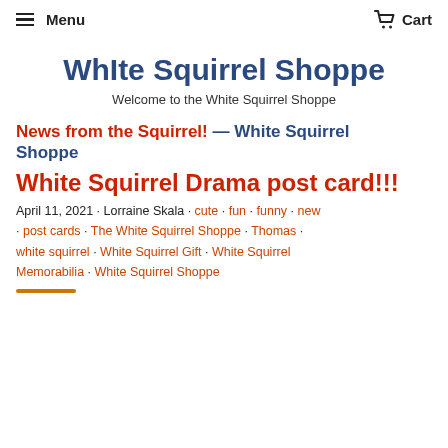Menu  Cart
White Squirrel Shoppe
Welcome to the White Squirrel Shoppe
News from the Squirrel! — White Squirrel Shoppe
White Squirrel Drama post card!!!
April 11, 2021 · Lorraine Skala · cute · fun · funny · new · post cards · The White Squirrel Shoppe · Thomas · white squirrel · White Squirrel Gift · White Squirrel Memorabilia · White Squirrel Shoppe